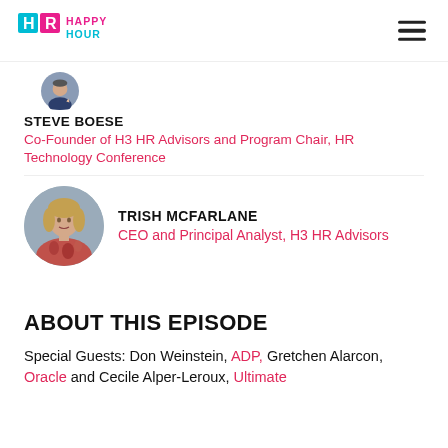[Figure (logo): HR Happy Hour logo with colorful H and R letters and text HAPPY HOUR]
[Figure (photo): Partially visible circular photo of a man in a suit (Steve Boese), cropped at top]
STEVE BOESE
Co-Founder of H3 HR Advisors and Program Chair, HR Technology Conference
[Figure (photo): Circular photo of Trish McFarlane, a woman in a floral pink top]
TRISH MCFARLANE
CEO and Principal Analyst, H3 HR Advisors
ABOUT THIS EPISODE
Special Guests: Don Weinstein, ADP, Gretchen Alarcon, Oracle and Cecile Alper-Leroux, Ultimate